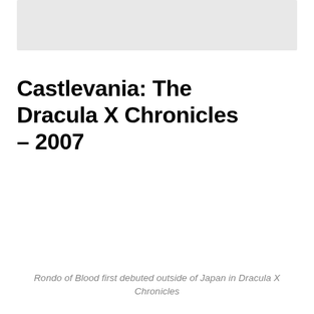[Figure (other): Gray placeholder image at the top of the page]
Castlevania: The Dracula X Chronicles – 2007
Rondo of Blood first debuted outside of Japan in Dracula X Chronicles